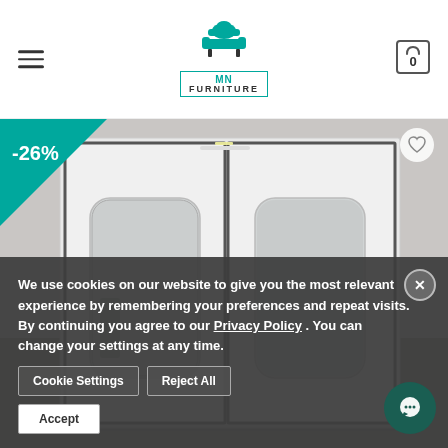[Figure (logo): MN Furniture logo with teal sofa/chair icon and bordered text]
[Figure (photo): White wardrobe with sliding mirror doors in a modern bedroom setting, with -26% discount badge]
We use cookies on our website to give you the most relevant experience by remembering your preferences and repeat visits. By continuing you agree to our Privacy Policy . You can change your settings at any time.
Cookie Settings   Reject All
Accept